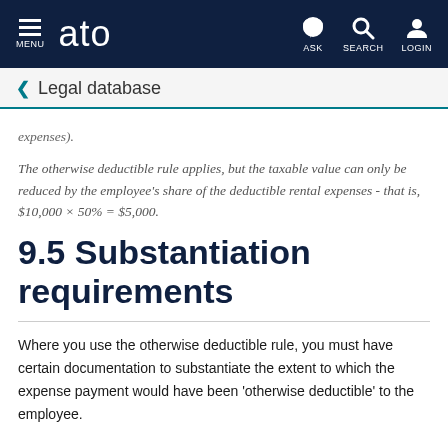MENU | ato | ASK | SEARCH | LOGIN
Legal database
expenses).
The otherwise deductible rule applies, but the taxable value can only be reduced by the employee's share of the deductible rental expenses - that is, $10,000 × 50% = $5,000.
9.5 Substantiation requirements
Where you use the otherwise deductible rule, you must have certain documentation to substantiate the extent to which the expense payment would have been 'otherwise deductible' to the employee.